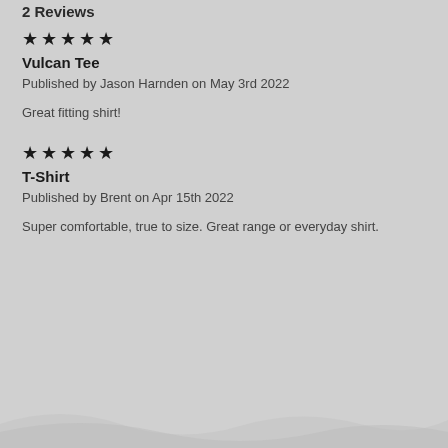2 Reviews
★★★★★
Vulcan Tee
Published by Jason Harnden on May 3rd 2022
Great fitting shirt!
★★★★★
T-Shirt
Published by Brent on Apr 15th 2022
Super comfortable, true to size. Great range or everyday shirt.